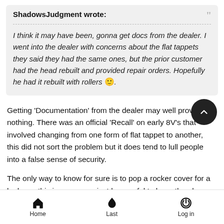ShadowsJudgment wrote:
I think it may have been, gonna get docs from the dealer. I went into the dealer with concerns about the flat tappets they said they had the same ones, but the prior customer had the head rebuilt and provided repair orders. Hopefully he had it rebuilt with rollers 🙂.
Getting 'Documentation' from the dealer may well prove nothing. There was an official 'Recall' on early 8V's that involved changing from one form of flat tappet to another, this did not sort the problem but it does tend to lull people into a false sense of security.
The only way to know for sure is to pop a rocker cover for a looksee, this is very easy, just be careful to lever the plug caps off the plugs from underneath to avoid damaging them, don't
Home  Last  Log in